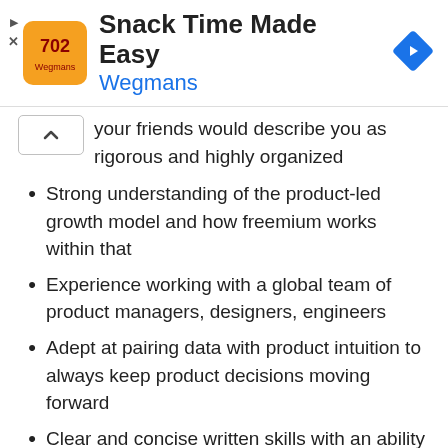[Figure (logo): Wegmans ad banner with orange logo, 'Snack Time Made Easy' title, 'Wegmans' subtitle in blue, and a blue navigation diamond icon]
Your friends would describe you as rigorous and highly organized
Strong understanding of the product-led growth model and how freemium works within that
Experience working with a global team of product managers, designers, engineers
Adept at pairing data with product intuition to always keep product decisions moving forward
Clear and concise written skills with an ability to distill and communicate complex topics
Bias towards action with an ability to drive